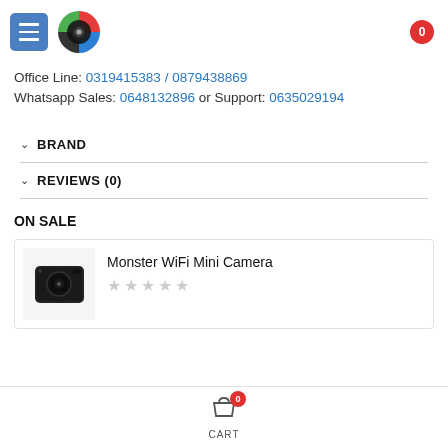Menu button, logo, cart badge (0)
Office Line: 0319415383 / 0879438869
Whatsapp Sales: 0648132896 or Support: 0635029194
BRAND
REVIEWS (0)
ON SALE
Monster WiFi Mini Camera
CART